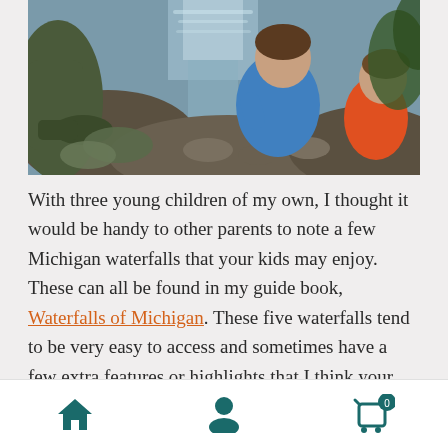[Figure (photo): Two children playing near a rocky stream with a small waterfall in a forested area. A child in a blue shirt is prominent in the center, another in orange is partially visible on the right.]
With three young children of my own, I thought it would be handy to other parents to note a few Michigan waterfalls that your kids may enjoy. These can all be found in my guide book, Waterfalls of Michigan. These five waterfalls tend to be very easy to access and sometimes have a few extra features or highlights that I think your family may like. The order below is based on the
[Figure (other): Mobile app bottom navigation bar with three icons: home (house), profile (person silhouette), and shopping cart with badge showing 0.]